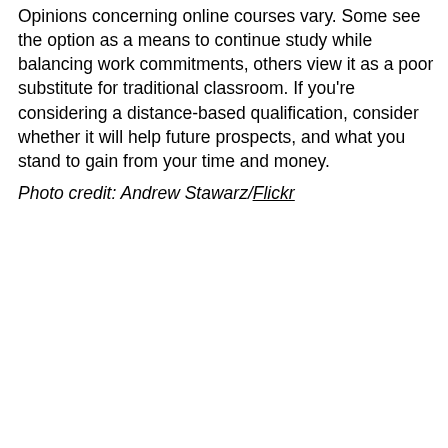Opinions concerning online courses vary. Some see the option as a means to continue study while balancing work commitments, others view it as a poor substitute for traditional classroom. If you're considering a distance-based qualification, consider whether it will help future prospects, and what you stand to gain from your time and money.
Photo credit: Andrew Stawarz/Flickr